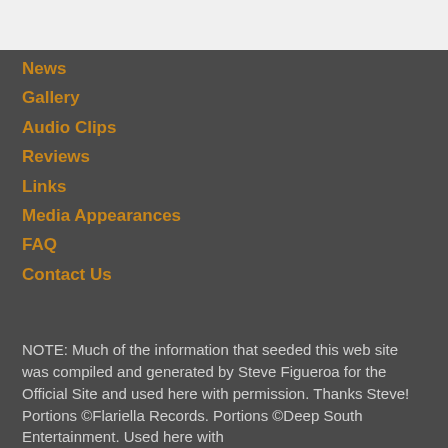News
Gallery
Audio Clips
Reviews
Links
Media Appearances
FAQ
Contact Us
NOTE: Much of the information that seeded this web site was compiled and generated by Steve Figueroa for the Official Site and used here with permission. Thanks Steve! Portions ©Flariella Records. Portions ©Deep South Entertainment. Used here with